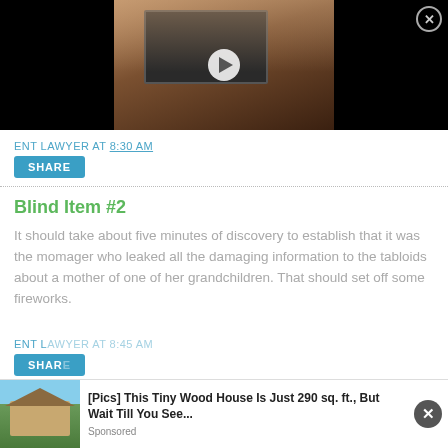[Figure (screenshot): Video thumbnail showing hands typing on a laptop with black background on sides, a play button in the center, and a close button in top right corner]
ENT LAWYER AT 8:30 AM
SHARE
Blind Item #2
It should take about five minutes of discovery to establish that it was the momager who leaked all the damaging information to the tabloids about a mother of one of her grandchildren. That should set off some fireworks.
ENT LAWYER AT 8:45 AM
SHARE
[Figure (screenshot): Advertisement banner showing a tiny wood house image with text: [Pics] This Tiny Wood House Is Just 290 sq. ft., But Wait Till You See... Sponsored]